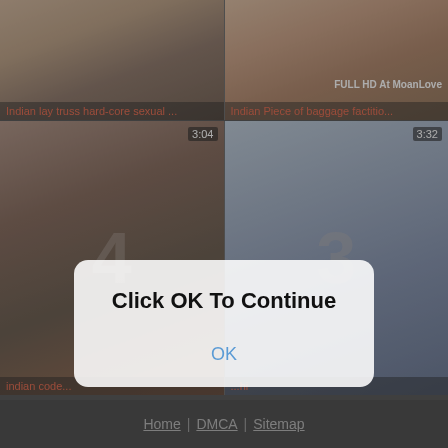[Figure (screenshot): Video thumbnail grid showing adult content website with 4 video thumbnails. Top-left: 'Indian lay truss hard-core sexual...' Top-right: 'Indian Piece of baggage factitio...' with watermark 'FULL HD At MoanLove'. Bottom-left: 'indian code...' with duration 3:04. Bottom-right: thumbnail with duration 3:32 and partial text '...hi'.]
Click OK To Continue
OK
Home | DMCA | Sitemap